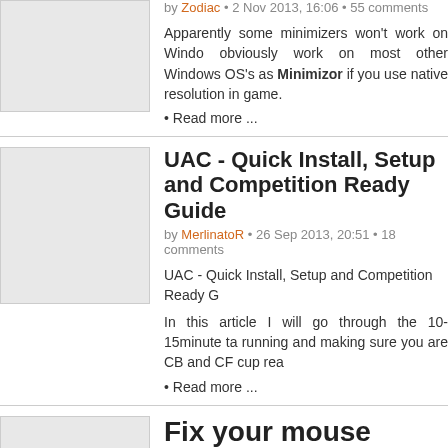by Zodiac • 2 Nov 2013, 16:06 • 55 comments
Apparently some minimizers won't work on Windows... obviously work on most other Windows OS's as... Minimizor if you use native resolution in game.
• Read more ...
UAC - Quick Install, Setup and Competition Ready Guide
by MerlinatoR • 26 Sep 2013, 20:51 • 18 comments
UAC - Quick Install, Setup and Competition Ready G...
In this article I will go through the 10-15minute ta... running and making sure you are CB and CF cup rea...
• Read more ...
Fix your mouse yourself.
by adze • 29 Aug 2013, 20:45 • 42 comments